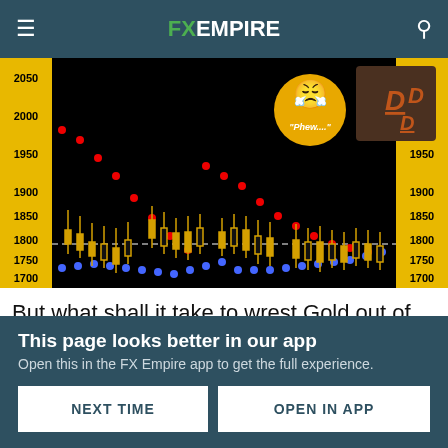FX EMPIRE
[Figure (continuous-plot): Gold price candlestick chart with y-axis values from 1700 to 2050, showing red dotted descending line, blue dotted ascending line, and yellow candlesticks. Horizontal dashed white line at 1800. Images of a cartoon bird and DD logo overlaid.]
But what shall it take to wrest Gold out of its high-1700s to low-1800s malaise? Yes, obviously Gold's foundational fundamentals support price above 4000 right now, a valuation
This page looks better in our app
Open this in the FX Empire app to get the full experience.
NEXT TIME    OPEN IN APP